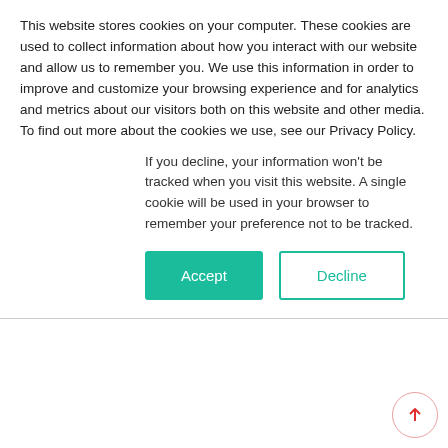This website stores cookies on your computer. These cookies are used to collect information about how you interact with our website and allow us to remember you. We use this information in order to improve and customize your browsing experience and for analytics and metrics about our visitors both on this website and other media. To find out more about the cookies we use, see our Privacy Policy.
If you decline, your information won't be tracked when you visit this website. A single cookie will be used in your browser to remember your preference not to be tracked.
[Figure (other): Accept and Decline cookie consent buttons. Accept is a filled teal/green button; Decline is an outlined teal/green button.]
in Endoscopes
[Figure (illustration): Illustration of an endoscope on a teal background showing a thin rod/tube connected to a camera head with cables.]